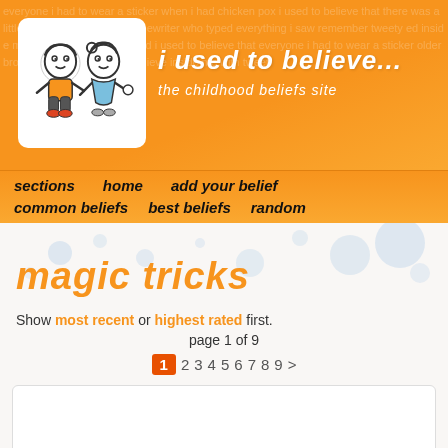[Figure (illustration): Website header banner with orange background, scattered white text watermark, white logo box with two cartoon children characters, and site title 'i used to believe... the childhood beliefs site']
i used to believe... the childhood beliefs site
sections   home   add your belief
common beliefs   best beliefs   random
magic tricks
Show most recent or highest rated first.
page 1 of 9
1 2 3 4 5 6 7 8 9 >